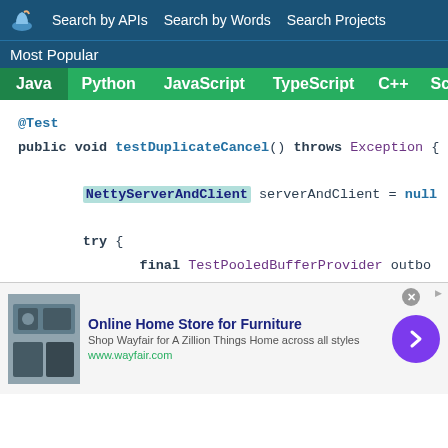Search by APIs   Search by Words   Search Projects
Most Popular
Java   Python   JavaScript   TypeScript   C++   Scala
@Test
public void testDuplicateCancel() throws Exception {
    NettyServerAndClient serverAndClient = null
    try {
        final TestPooledBufferProvider outbo
        ResultPartitionManager partitions =
        ResultPartitionID pid = new ResultPa
        final CountDownLatch sync = new Coun
[Figure (screenshot): Advertisement banner for Wayfair Online Home Store for Furniture with image of appliances, text and arrow button]